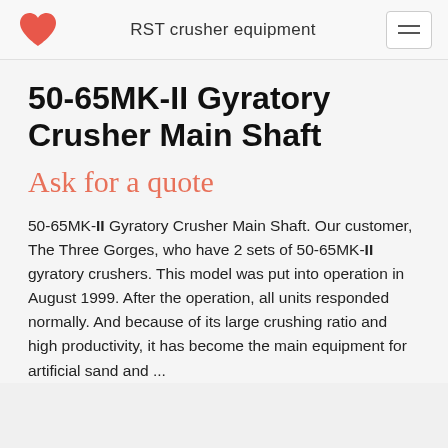RST crusher equipment
50-65MK-II Gyratory Crusher Main Shaft
Ask for a quote
50-65MK-II Gyratory Crusher Main Shaft. Our customer, The Three Gorges, who have 2 sets of 50-65MK-II gyratory crushers. This model was put into operation in August 1999. After the operation, all units responded normally. And because of its large crushing ratio and high productivity, it has become the main equipment for artificial sand and ...